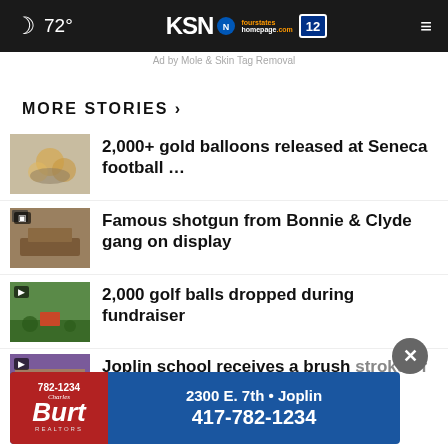🌙 72° | KSN fourstates homepage .com 12
Ad by Mole & Skin Tag Removal
MORE STORIES ›
2,000+ gold balloons released at Seneca football …
Famous shotgun from Bonnie & Clyde gang on display
2,000 golf balls dropped during fundraiser
Joplin school receives a brush stroke of school spirit
[Figure (screenshot): Ad banner: Charles Burt Realtors — 782-1234 — 2300 E. 7th • Joplin — 417-782-1234]